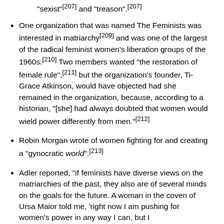"sexist"[207] and "treason".[207]
One organization that was named The Feminists was interested in matriarchy[209] and was one of the largest of the radical feminist women's liberation groups of the 1960s.[210] Two members wanted "the restoration of female rule",[211] but the organization's founder, Ti-Grace Atkinson, would have objected had she remained in the organization, because, according to a historian, "[she] had always doubted that women would wield power differently from men."[212]
Robin Morgan wrote of women fighting for and creating a "gynocratic world".[213]
Adler reported, "if feminists have diverse views on the matriarchies of the past, they also are of several minds on the goals for the future. A woman in the coven of Ursa Maior told me, 'right now I am pushing for women's power in any way I can, but I